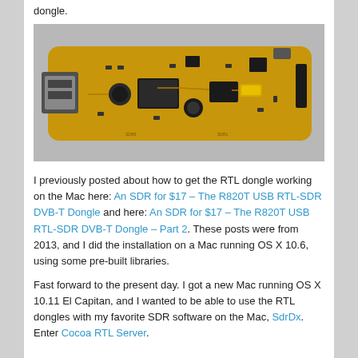dongle.
[Figure (photo): Photo of an RTL-SDR USB dongle – a yellow/gold PCB circuit board with USB connector on the left and various electronic components including chips, capacitors, and a crystal oscillator on the board.]
I previously posted about how to get the RTL dongle working on the Mac here: An SDR for $17 – The R820T USB RTL-SDR DVB-T Dongle and here: An SDR for $17 – The R820T USB RTL-SDR DVB-T Dongle – Part 2. These posts were from 2013, and I did the installation on a Mac running OS X 10.6, using some pre-built libraries.
Fast forward to the present day. I got a new Mac running OS X 10.11 El Capitan, and I wanted to be able to use the RTL dongles with my favorite SDR software on the Mac, SdrDx. Enter Cocoa RTL Server.